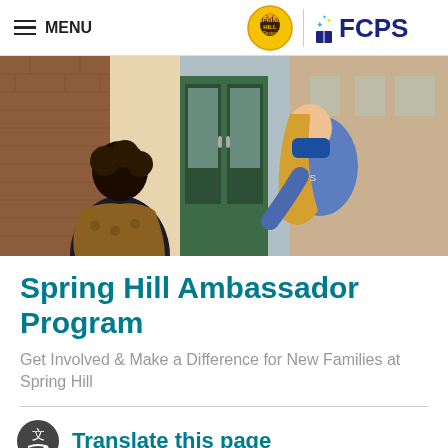MENU | Spring Hill | FCPS
[Figure (photo): A school ambassador wearing a blue face mask leans forward to greet a student or parent at a school entrance door.]
Spring Hill Ambassador Program
Get Involved & Make a Difference for New Families at Spring Hill
Translate this page